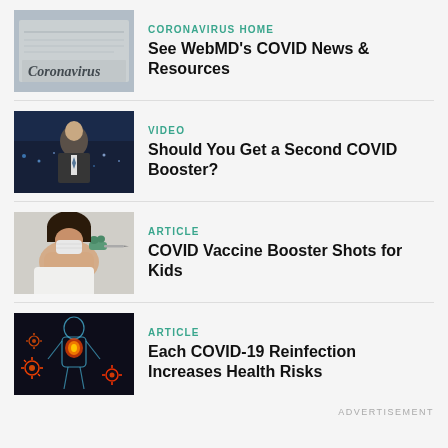[Figure (photo): Newspaper with 'Coronavirus' text headline, blurred background]
CORONAVIRUS HOME
See WebMD's COVID News & Resources
[Figure (photo): Man in suit against city lights background, video thumbnail]
VIDEO
Should You Get a Second COVID Booster?
[Figure (photo): Healthcare worker administering vaccine injection to patient]
ARTICLE
COVID Vaccine Booster Shots for Kids
[Figure (photo): Medical illustration of human body with glowing organs and virus particles]
ARTICLE
Each COVID-19 Reinfection Increases Health Risks
ADVERTISEMENT